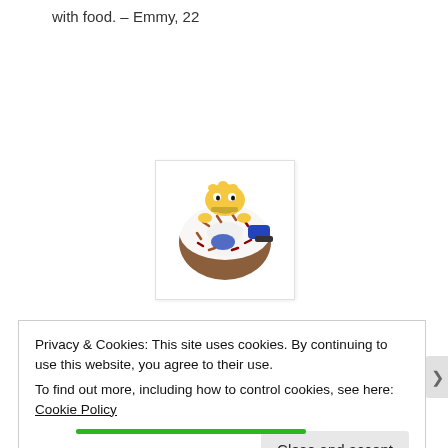with food. – Emmy, 22
[Figure (illustration): Homer Simpson peeking over a large frosted donut with sprinkles, with a blue shoe visible]
Privacy & Cookies: This site uses cookies. By continuing to use this website, you agree to their use.
To find out more, including how to control cookies, see here: Cookie Policy
Close and accept